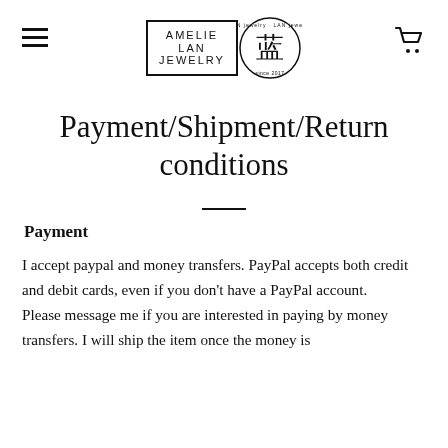Amelie Lan Jewelry
Payment/Shipment/Return conditions
Payment
I accept paypal and money transfers. PayPal accepts both credit and debit cards, even if you don't have a PayPal account.
Please message me if you are interested in paying by money transfers. I will ship the item once the money is received by bank or other channels.